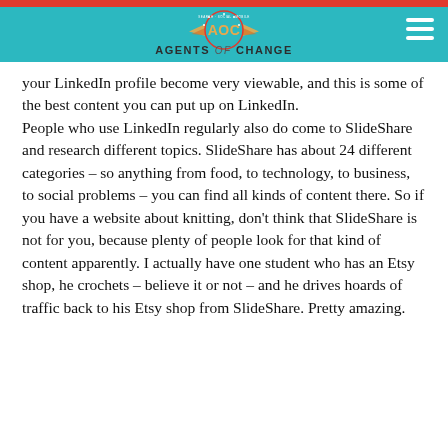AGENTS of CHANGE
your LinkedIn profile become very viewable, and this is some of the best content you can put up on LinkedIn.
People who use LinkedIn regularly also do come to SlideShare and research different topics. SlideShare has about 24 different categories – so anything from food, to technology, to business, to social problems – you can find all kinds of content there. So if you have a website about knitting, don't think that SlideShare is not for you, because plenty of people look for that kind of content apparently. I actually have one student who has an Etsy shop, he crochets – believe it or not – and he drives hoards of traffic back to his Etsy shop from SlideShare. Pretty amazing.